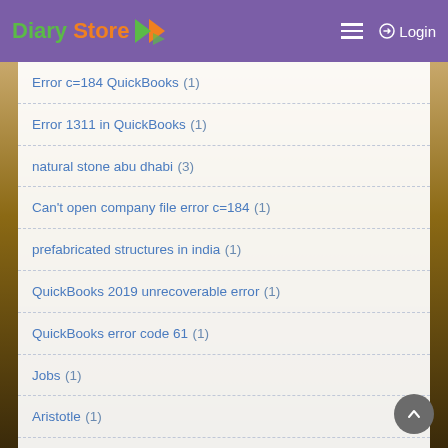Diary Store — Login
Error c=184 QuickBooks (1)
Error 1311 in QuickBooks (1)
natural stone abu dhabi (3)
Can't open company file error c=184 (1)
prefabricated structures in india (1)
QuickBooks 2019 unrecoverable error (1)
QuickBooks error code 61 (1)
Jobs (1)
Aristotle (1)
VIDEO (2)
Lost my bank connection error 9999 (1)
Error Code 12007 QuickBooks (1)